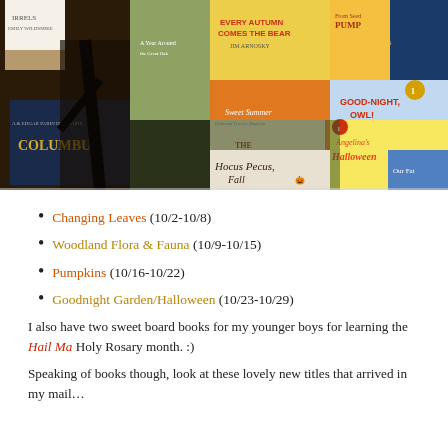[Figure (photo): Collage of children's books including Columbus, Pumpkins, Good-Night Owl, Hail Mary, Angelina's Halloween, Hocus Pocus Fall, Every Autumn Comes the Bear, The Pumpkin Blanket, and others arranged in a mosaic layout.]
Changing Leaves (10/2-10/8)
Woodland Flora & Fauna (10/9-10/15)
Pumpkins (10/16-10/22)
Goodnight Garden/Halloween (10/23-10/29)
I also have two sweet board books for my younger boys for learning the Hail Ma... Holy Rosary month. :)
Speaking of books though, look at these lovely new titles that arrived in my mail...